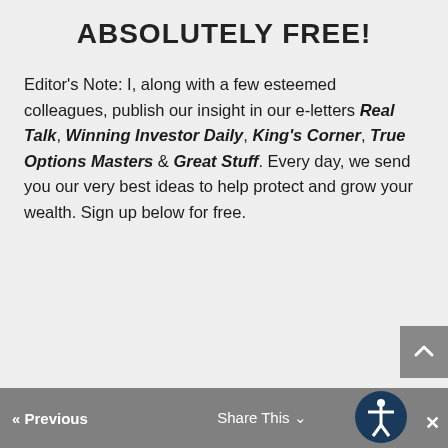ABSOLUTELY FREE!
Editor's Note: I, along with a few esteemed colleagues, publish our insight in our e-letters Real Talk, Winning Investor Daily, King's Corner, True Options Masters & Great Stuff. Every day, we send you our very best ideas to help protect and grow your wealth. Sign up below for free.
« Previous   Share This   »